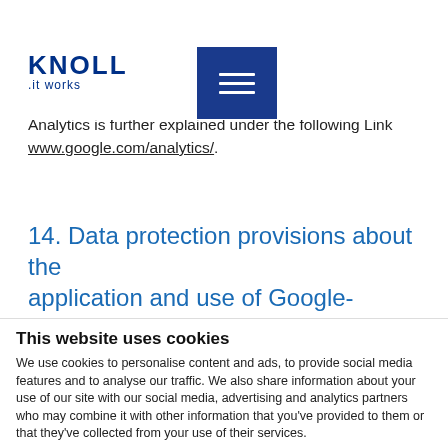KNOLL .it works
Further information and the applicable data protection notice may be retrieved under www.google.com/intl/en/policies/privacy/ and under www.google.com/analytics/terms/us.html. Google Analytics is further explained under the following Link www.google.com/analytics/.
14. Data protection provisions about the application and use of Google-AdWords
This website uses cookies
We use cookies to personalise content and ads, to provide social media features and to analyse our traffic. We also share information about your use of our site with our social media, advertising and analytics partners who may combine it with other information that you've provided to them or that they've collected from your use of their services.
Allow selection | Allow all
Necessary | Preferences | Statistics | Marketing | Show details